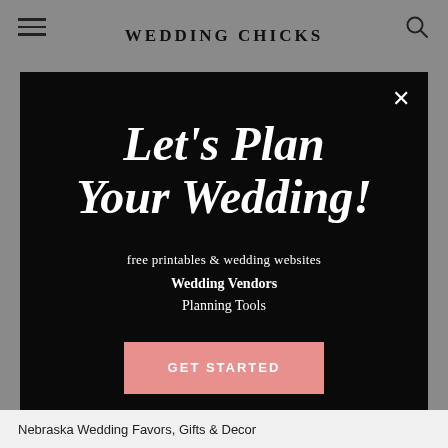WEDDING CHICKS
Let's Plan Your Wedding!
free printables & wedding websites
Wedding Vendors
Planning Tools
GET STARTED
Nebraska Wedding Favors, Gifts & Decor